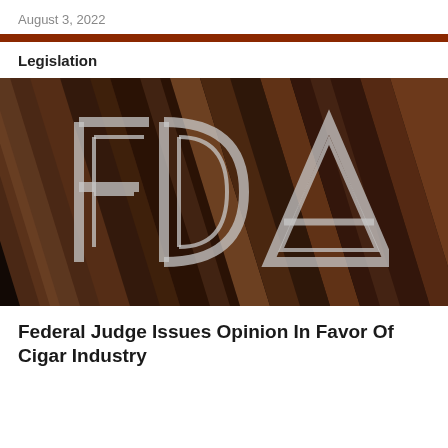August 3, 2022
Legislation
[Figure (photo): Close-up photo of cigars bundled together with FDA logo overlaid in semi-transparent white/grey]
Federal Judge Issues Opinion In Favor Of Cigar Industry